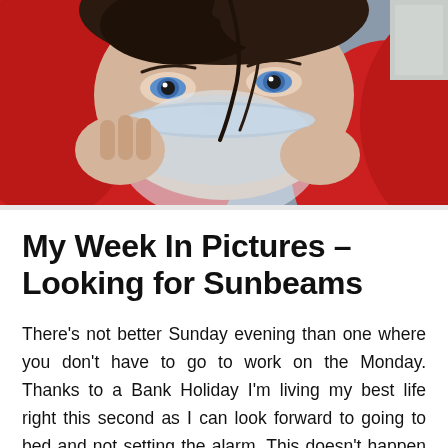[Figure (photo): Close-up photo of a person with blue eyes wearing a red hooded jacket, holding a glass or mug up to their face in a drinking pose. The image is cropped to show mainly the eyes and the glass/mug against the red hood background.]
My Week In Pictures – Looking for Sunbeams
There's not better Sunday evening than one where you don't have to go to work on the Monday. Thanks to a Bank Holiday I'm living my best life right this second as I can look forward to going to bed and not setting the alarm. This doesn't happen often!  To top off the joy it's the final episode of Line of Duty tonight.  Not gonna lie, as much as I love the series I find myself totally confused as to who is a suspect and who isn't.  So much so that I start to